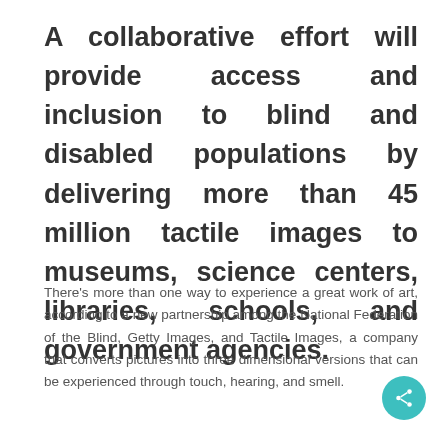A collaborative effort will provide access and inclusion to blind and disabled populations by delivering more than 45 million tactile images to museums, science centers, libraries, schools, and government agencies.
There's more than one way to experience a great work of art, according to a new partnership among the National Federation of the Blind, Getty Images, and Tactile Images, a company that converts pictures into three dimensional versions that can be experienced through touch, hearing, and smell.